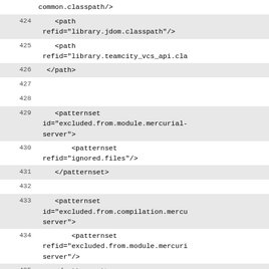423    common.classpath/>
424        <path refid="library.jdom.classpath"/>
425        <path refid="library.teamcity_vcs_api.cla
426    </path>
427
428
429    <patternset id="excluded.from.module.mercurial-server">
430        <patternset refid="ignored.files"/>
431    </patternset>
432
433    <patternset id="excluded.from.compilation.mercu
434        <patternset refid="excluded.from.module.mercuri
435    </patternset>
436
437    <path id="mercurial-server.module.sourcepath">
438        <dirset dir="${module.mercurial-server.basedir}/mercurial-server">
439            <include name="resources"/>
440            <include name="src"/>